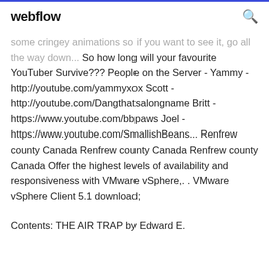webflow
some cringey animations so if you want to see it, go all the way down... So how long will your favourite YouTuber Survive??? People on the Server - Yammy - http://youtube.com/yammyxox Scott - http://youtube.com/Dangthatsalongname Britt - https://www.youtube.com/bbpaws Joel - https://www.youtube.com/SmallishBeans... Renfrew county Canada Renfrew county Canada Renfrew county Canada Offer the highest levels of availability and responsiveness with VMware vSphere,. . VMware vSphere Client 5.1 download;
Contents: THE AIR TRAP by Edward E.